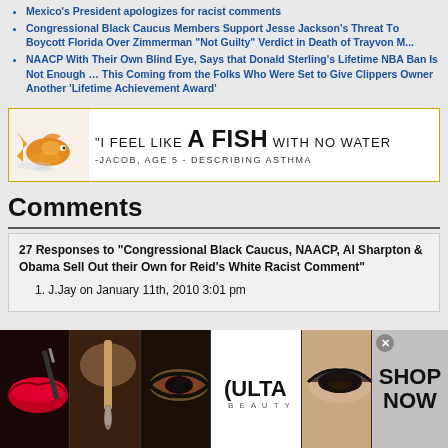Mexico's President apologizes for racist comments
Congressional Black Caucus Members Support Jesse Jackson's Threat To Boycott Florida Over Zimmerman "Not Guilty" Verdict in Death of Trayvon M...
NAACP With Their Own Blind Eye, Says that Donald Sterling's Lifetime NBA Ban Is Not Enough … This Coming from the Folks Who Were Set to Give Clippers Owner Another 'Lifetime Achievement Award'
[Figure (infographic): Advertisement banner with orange/gold fish graphic on left and text reading: "I FEEL LIKE A FISH WITH NO WATER" -JACOB, AGE 5 - DESCRIBING ASTHMA]
Comments
27 Responses to "Congressional Black Caucus, NAACP, Al Sharpton & Obama Sell Out their Own for Reid's White Racist Comment"
1. J.Jay on January 11th, 2010 3:01 pm
[Figure (photo): Bottom advertisement banner for ULTA Beauty showing makeup/cosmetics images with 'SHOP NOW' call to action]